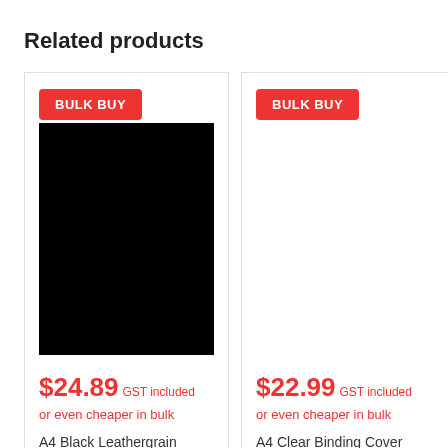Related products
[Figure (photo): Product card for A4 Black Leathergrain Binding Cover 250gsm. Shows BULK BUY red badge, black product image, price $24.89 GST included or even cheaper in bulk.]
[Figure (photo): Product card for A4 Clear Binding Cover 200mic x 100's. Shows BULK BUY red badge, blank/white product image area, price $22.99 GST included or even cheaper in bulk.]
$24.89 GST included or even cheaper in bulk
A4 Black Leathergrain Binding Cover 250gsm x
$22.99 GST included or even cheaper in bulk
A4 Clear Binding Cover 200mic x 100's